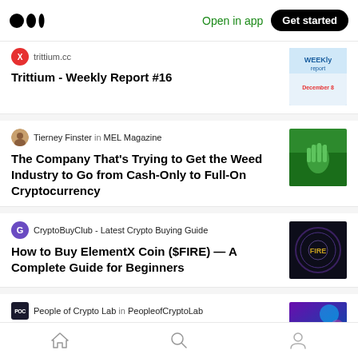Medium — Open in app — Get started
trittium.cc — Trittium - Weekly Report #16
Trittium - Weekly Report #16
Tierney Finster in MEL Magazine
The Company That's Trying to Get the Weed Industry to Go from Cash-Only to Full-On Cryptocurrency
CryptoBuyClub - Latest Crypto Buying Guide
How to Buy ElementX Coin ($FIRE) — A Complete Guide for Beginners
People of Crypto Lab in PeopleofCryptoLab
What is a digital wallet?
Home — Search — Profile